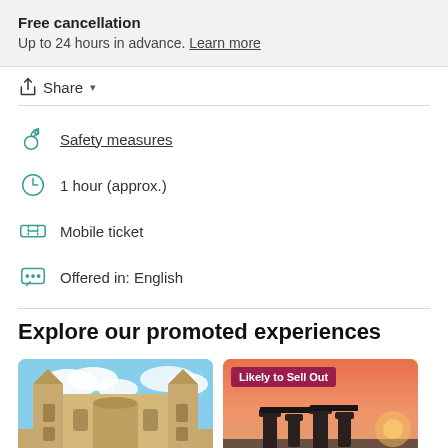Free cancellation
Up to 24 hours in advance. Learn more
Share
Safety measures
1 hour (approx.)
Mobile ticket
Offered in: English
Explore our promoted experiences
[Figure (photo): Bath Abbey gothic cathedral with blue sky]
[Figure (photo): Stonehenge at sunset with Likely to Sell Out badge]